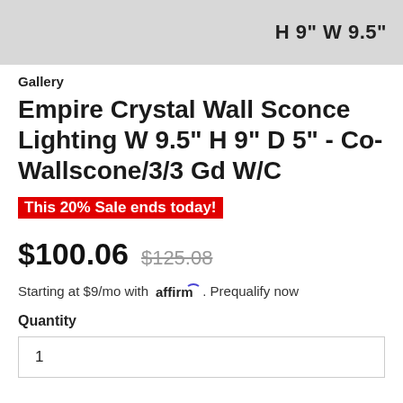[Figure (photo): Product image strip showing crystal wall sconce with dimension label H 9" W 9.5" in top right corner on gray background]
Gallery
Empire Crystal Wall Sconce Lighting W 9.5" H 9" D 5" - Co-Wallscone/3/3 Gd W/C
This 20% Sale ends today!
$100.06  $125.08
Starting at $9/mo with affirm. Prequalify now
Quantity
1